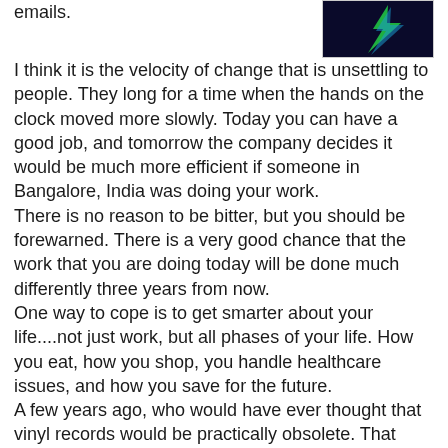emails.
[Figure (photo): Dark background with green and blue lightning bolt or abstract streak graphic]
I think it is the velocity of change that is unsettling to people. They long for a time when the hands on the clock moved more slowly. Today you can have a good job, and tomorrow the company decides it would be much more efficient if someone in Bangalore, India was doing your work.
There is no reason to be bitter, but you should be forewarned. There is a very good chance that the work that you are doing today will be done much differently three years from now.
One way to cope is to get smarter about your life....not just work, but all phases of your life. How you eat, how you shop, you handle healthcare issues, and how you save for the future.
A few years ago, who would have ever thought that vinyl records would be practically obsolete. That they would be replaced by CD's. But even CD's are not safe because of computers and iPods. The way people listen to music/radio is changing. The market is chasing consumer choice. For example, I enjoy listening to Dave Ramsey who is a financial guy that helps people of all walks of life with their money